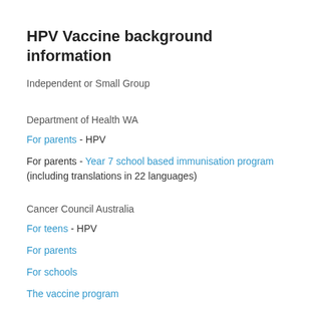HPV Vaccine background information
Independent or Small Group
Department of Health WA
For parents - HPV
For parents - Year 7 school based immunisation program (including translations in 22 languages)
Cancer Council Australia
For teens - HPV
For parents
For schools
The vaccine program